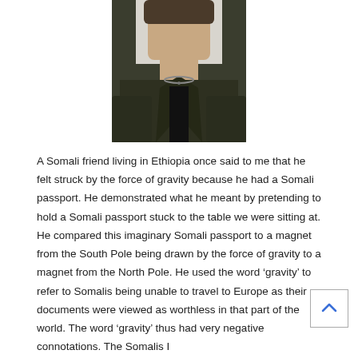[Figure (photo): Portrait photograph of a woman wearing a dark jacket and necklace, with a white/light background. Upper portion of her face is cropped out.]
A Somali friend living in Ethiopia once said to me that he felt struck by the force of gravity because he had a Somali passport. He demonstrated what he meant by pretending to hold a Somali passport stuck to the table we were sitting at. He compared this imaginary Somali passport to a magnet from the South Pole being drawn by the force of gravity to a magnet from the North Pole. He used the word ‘gravity’ to refer to Somalis being unable to travel to Europe as their documents were viewed as worthless in that part of the world. The word ‘gravity’ thus had very negative connotations. The Somalis I